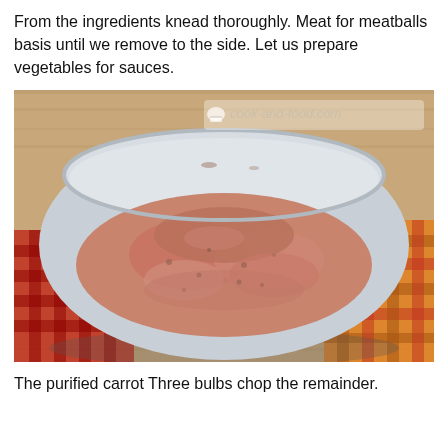From the ingredients knead thoroughly. Meat for meatballs basis until we remove to the side. Let us prepare vegetables for sauces.
[Figure (photo): A white bowl containing ground meat mixture sitting on a red checkered cloth napkin on a wooden surface. Watermark reads cook-and-food.com with a chef hat logo.]
The purified carrot Three bulbs chop the remainder.